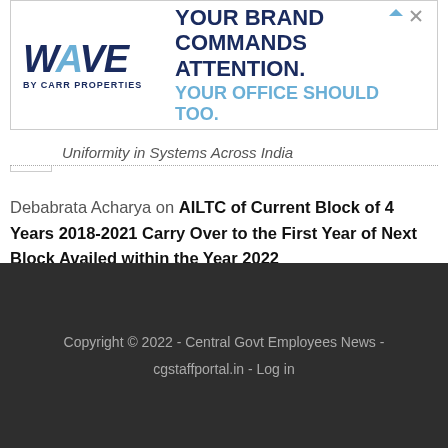[Figure (other): Wave by Carr Properties advertisement banner with logo and text: YOUR BRAND COMMANDS ATTENTION. YOUR OFFICE SHOULD TOO.]
Uniformity in Systems Across India
Debabrata Acharya on AILTC of Current Block of 4 Years 2018-2021 Carry Over to the First Year of Next Block Availed within the Year 2022
Copyright © 2022 - Central Govt Employees News - cgstaffportal.in - Log in